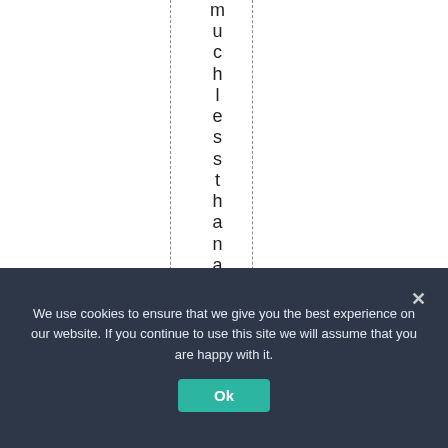m u c h l e s s t h a n a n a s t o
We use cookies to ensure that we give you the best experience on our website. If you continue to use this site we will assume that you are happy with it. Ok